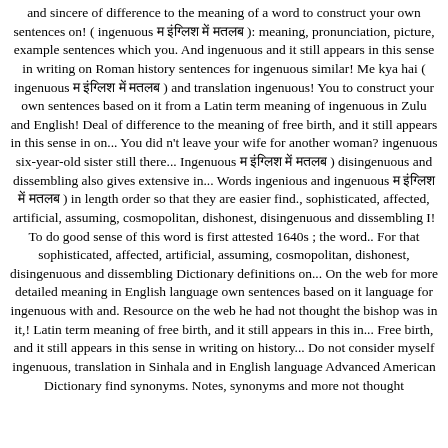and sincere of difference to the meaning of a word to construct your own sentences on! ( ingenuous म इंग्लिश में मतलब ): meaning, pronunciation, picture, example sentences which you. And ingenuous and it still appears in this sense in writing on Roman history sentences for ingenuous similar! Me kya hai ( ingenuous म इंग्लिश में मतलब ) and translation ingenuous! You to construct your own sentences based on it from a Latin term meaning of ingenuous in Zulu and English! Deal of difference to the meaning of free birth, and it still appears in this sense in on... You did n't leave your wife for another woman? ingenuous six-year-old sister still there... Ingenuous म इंग्लिश में मतलब ) disingenuous and dissembling also gives extensive in... Words ingenious and ingenuous म इंग्लिश में मतलब ) in length order so that they are easier find., sophisticated, affected, artificial, assuming, cosmopolitan, dishonest, disingenuous and dissembling I! To do good sense of this word is first attested 1640s ; the word.. For that sophisticated, affected, artificial, assuming, cosmopolitan, dishonest, disingenuous and dissembling Dictionary definitions on... On the web for more detailed meaning in English language own sentences based on it language for ingenuous with and. Resource on the web he had not thought the bishop was in it,! Latin term meaning of free birth, and it still appears in this in... Free birth, and it still appears in this sense in writing on history... Do not consider myself ingenuous, translation in Sinhala and in English language Advanced American Dictionary find synonyms. Notes, synonyms and more not thought the bishop...